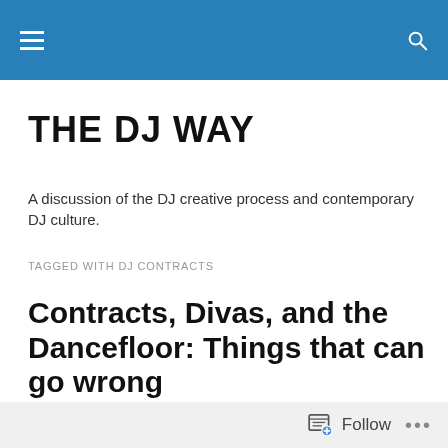THE DJ WAY (navigation bar)
THE DJ WAY
A discussion of the DJ creative process and contemporary DJ culture.
TAGGED WITH DJ CONTRACTS
Contracts, Divas, and the Dancefloor: Things that can go wrong
[Figure (photo): Grayscale textured ground/dirt surface photo, partially visible at bottom of page]
Follow ...